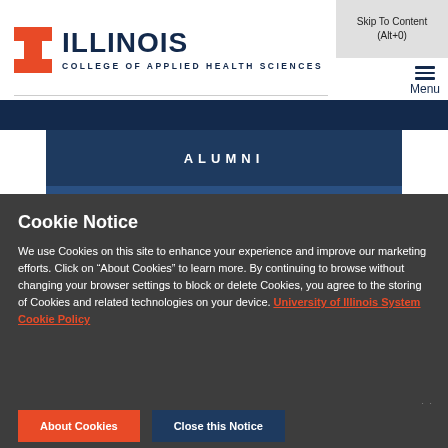[Figure (logo): University of Illinois block I logo in orange/red with ILLINOIS wordmark in dark navy and COLLEGE OF APPLIED HEALTH SCIENCES beneath]
Skip To Content (Alt+0)
Menu
ALUMNI
Cookie Notice
We use Cookies on this site to enhance your experience and improve our marketing efforts. Click on “About Cookies” to learn more. By continuing to browse without changing your browser settings to block or delete Cookies, you agree to the storing of Cookies and related technologies on your device. University of Illinois System Cookie Policy
About Cookies
Close this Notice